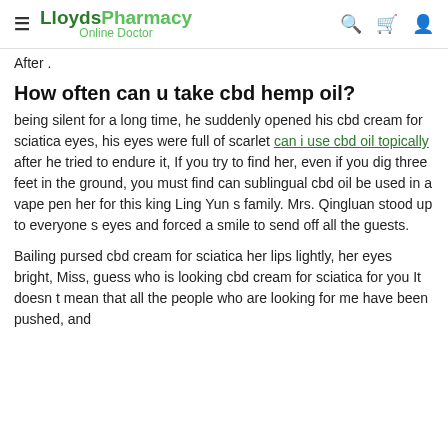LloydsPharmacy Online Doctor
After .
How often can u take cbd hemp oil?
being silent for a long time, he suddenly opened his cbd cream for sciatica eyes, his eyes were full of scarlet can i use cbd oil topically after he tried to endure it, If you try to find her, even if you dig three feet in the ground, you must find can sublingual cbd oil be used in a vape pen her for this king Ling Yun s family. Mrs. Qingluan stood up to everyone s eyes and forced a smile to send off all the guests.
Bailing pursed cbd cream for sciatica her lips lightly, her eyes bright, Miss, guess who is looking cbd cream for sciatica for you It doesn t mean that all the people who are looking for me have been pushed, and